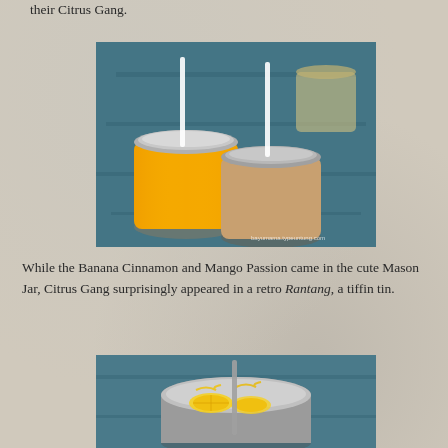their Citrus Gang.
[Figure (photo): Two Mason Jar drinks on a blue wooden table — one orange mango smoothie and one brown banana cinnamon smoothie, each with a white straw and silver metal lid.]
While the Banana Cinnamon and Mango Passion came in the cute Mason Jar, Citrus Gang surprisingly appeared in a retro Rantang, a tiffin tin.
[Figure (photo): A retro metal rantang (tiffin tin) containing a drink with lemon slices and yellow toppings, placed on a blue wooden table.]